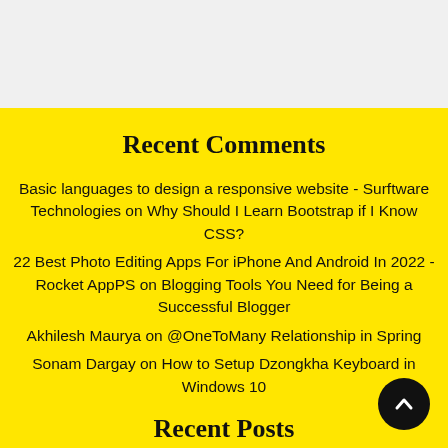Recent Comments
Basic languages to design a responsive website - Surftware Technologies on Why Should I Learn Bootstrap if I Know CSS?
22 Best Photo Editing Apps For iPhone And Android In 2022 - Rocket AppPS on Blogging Tools You Need for Being a Successful Blogger
Akhilesh Maurya on @OneToMany Relationship in Spring
Sonam Dargay on How to Setup Dzongkha Keyboard in Windows 10
Recent Posts